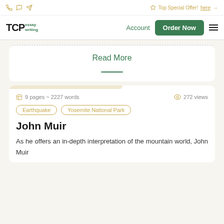Top Special Offer! here →
[Figure (logo): TCPessay writing logo with Order Now button and Account link]
Read More
9 pages ~ 2227 words   272 views
Earthquake
Yosemite National Park
John Muir
As he offers an in-depth interpretation of the mountain world, John Muir